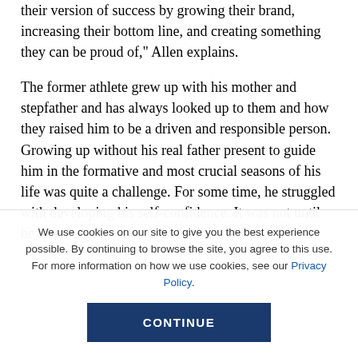their version of success by growing their brand, increasing their bottom line, and creating something they can be proud of," Allen explains.
The former athlete grew up with his mother and stepfather and has always looked up to them and how they raised him to be a driven and responsible person. Growing up without his real father present to guide him in the formative and most crucial seasons of his life was quite a challenge. For some time, he struggled with developing his self-confidence. It was not until he
We use cookies on our site to give you the best experience possible. By continuing to browse the site, you agree to this use. For more information on how we use cookies, see our Privacy Policy.
CONTINUE